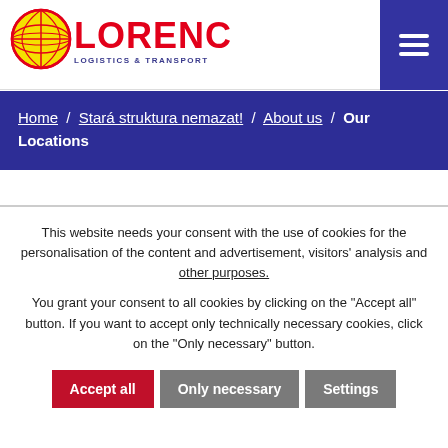[Figure (logo): Lorenc Logistics & Transport logo with red text LORENC and yellow globe icon]
Home / Stará struktura nemazat! / About us / Our Locations
This website needs your consent with the use of cookies for the personalisation of the content and advertisement, visitors' analysis and other purposes.
You grant your consent to all cookies by clicking on the "Accept all" button. If you want to accept only technically necessary cookies, click on the "Only necessary" button.
Accept all   Only necessary   Settings